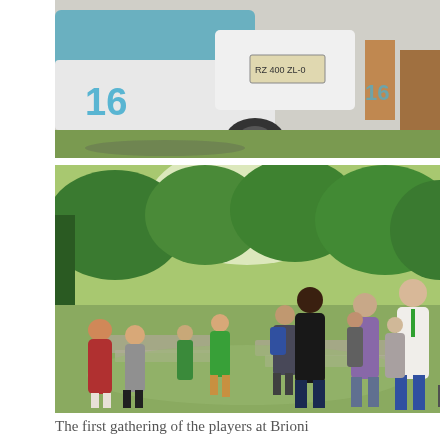[Figure (photo): Close-up photo of golf carts or utility vehicles, blue and white, with number 16 visible, parked outdoors near grass.]
[Figure (photo): Outdoor gathering of many people standing among ancient stone ruins with trees in background. People wearing casual clothes and green lanyards/badges.]
The first gathering of the players at Brioni